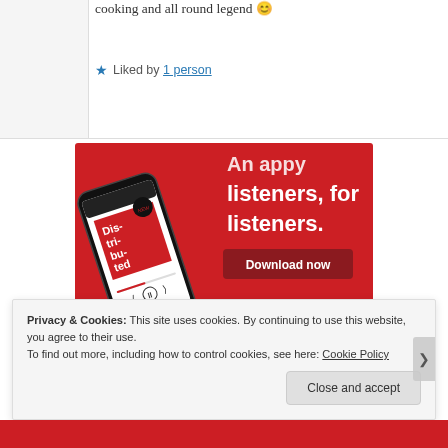cooking and all round legend 😊
★ Liked by 1 person
[Figure (screenshot): Advertisement banner on red background showing a smartphone with a podcast app open displaying 'Distributed' podcast. Text reads 'Anappy listeners, for listeners.' with a 'Download now' button.]
Privacy & Cookies: This site uses cookies. By continuing to use this website, you agree to their use. To find out more, including how to control cookies, see here: Cookie Policy
Close and accept